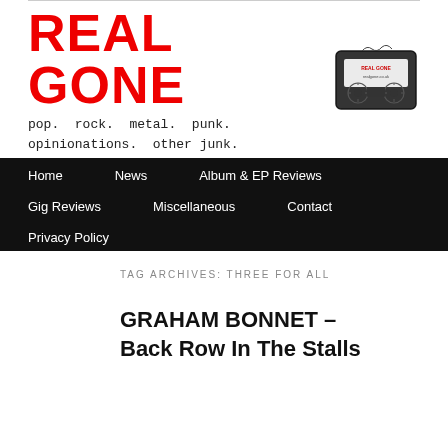[Figure (logo): Real Gone music blog logo with red bold text 'REAL GONE' and tagline 'pop. rock. metal. punk. opinionations. other junk.' with cassette tape illustration]
Home  News  Album & EP Reviews  Gig Reviews  Miscellaneous  Contact  Privacy Policy
TAG ARCHIVES: THREE FOR ALL
GRAHAM BONNET – Back Row In The Stalls